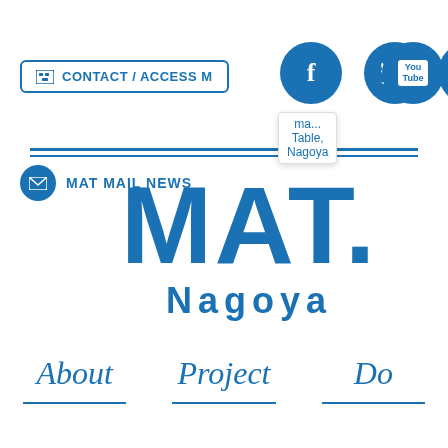[Figure (screenshot): Website header for MAT. Nagoya museum/arts organization showing navigation bar with CONTACT/ACCESS MAP button, social media icons (Facebook, Twitter, Instagram, YouTube), popup tooltip reading 'ma... Table, Nagoya', a horizontal double blue line divider, MAT MAIL NEWS link with envelope icon, large MAT. Nagoya logo text, navigation links: About, Project, Do... and horizontal blue line separators]
CONTACT / ACCESS MAP
MAT. Nagoya
MAT MAIL NEWS
About
Project
Do